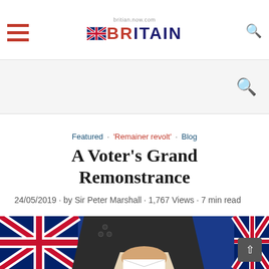BRITAIN (website header with hamburger menu, logo, and search icon)
A Voter's Grand Remonstrance
Featured · 'Remainer revolt' · Blog
24/05/2019 · by Sir Peter Marshall · 1,767 Views · 7 min read
[Figure (photo): A person's hand dropping a ballot/envelope into a ballot box, with UK Union Jack flags and EU blue flags in the background.]